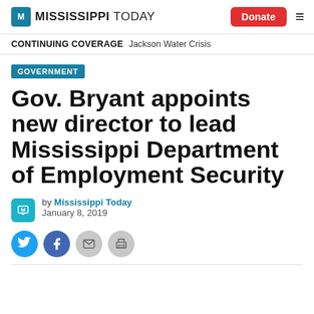Mississippi Today — Donate
CONTINUING COVERAGE   Jackson Water Crisis
GOVERNMENT
Gov. Bryant appoints new director to lead Mississippi Department of Employment Security
by Mississippi Today
January 8, 2019